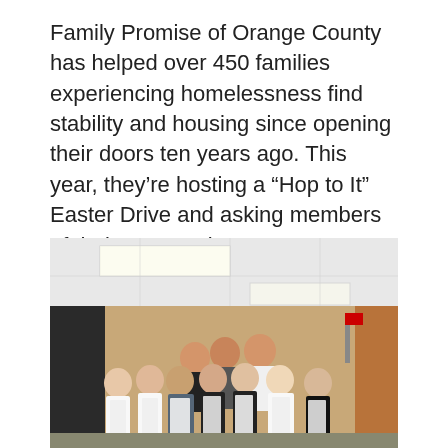Family Promise of Orange County has helped over 450 families experiencing homelessness find stability and housing since opening their doors ten years ago. This year, they’re hosting a “Hop to It” Easter Drive and asking members of their community to...
[Figure (photo): Group photo of approximately ten young people wearing white aprons posing together in what appears to be a community center or school cafeteria with fluorescent lighting, a whiteboard in the background, and tan/beige walls.]